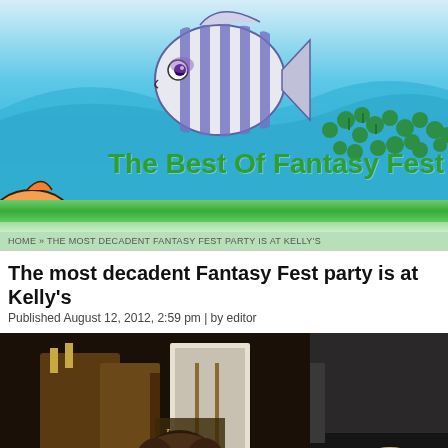[Figure (illustration): Website header with light blue sky background, decorative tropical fish illustration (striped blue/white fish), small orange cartoon fish on the left, green four-leaf clovers/shamrocks on the right]
The Best Of Fantasy Fest
HOME » THE MOST DECADENT FANTASY FEST PARTY IS AT KELLY'S
The most decadent Fantasy Fest party is at Kelly's
Published August 12, 2012, 2:59 pm | by editor
[Figure (photo): Two side-by-side photos of people at a bar/party venue. Left photo shows interior of a bar with wooden furniture and a man visible. Right photo shows another person at what appears to be the same venue.]